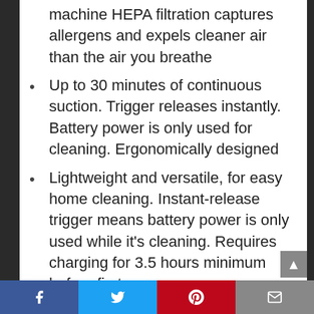machine HEPA filtration captures allergens and expels cleaner air than the air you breathe
Up to 30 minutes of continuous suction. Trigger releases instantly. Battery power is only used for cleaning. Ergonomically designed
Lightweight and versatile, for easy home cleaning. Instant-release trigger means battery power is only used while it’s cleaning. Requires charging for 3.5 hours minimum before first use
Direct drive cleaner head. Up to 6
Facebook | Twitter | Pinterest | Email